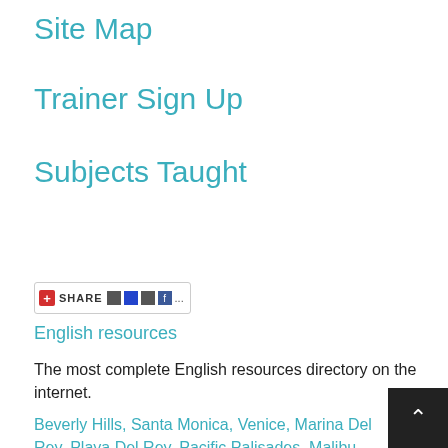Site Map
Trainer Sign Up
Subjects Taught
[Figure (screenshot): Social share button widget with red plus icon, 'SHARE' text, and social media icons]
English resources
The most complete English resources directory on the internet.
Beverly Hills, Santa Monica, Venice, Marina Del Rey, Playa Del Rey, Pacific Palisades, Malibu, Brentwood, Bel Air Estates, Culver City, Westwood, West Los Angeles, Century City, West Hollywood, Hollywood, Manhattan Beach, Redondo Beach, Hermosa Beach, Inglewood, Westchester, El Segundo, Hawthorne, Gardena